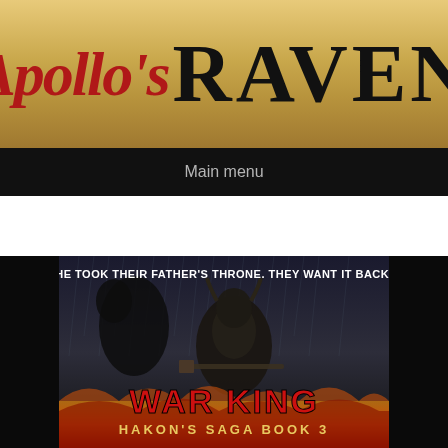Apollo's RAVEN
Main menu
[Figure (illustration): Book cover for 'War King: Hakon's Saga Book 3' showing an armored warrior in the rain holding a weapon, with text 'HE TOOK THEIR FATHER'S THRONE. THEY WANT IT BACK.' at the top, 'WAR KING' in large red letters and 'HAKON'S SAGA BOOK 3' below]